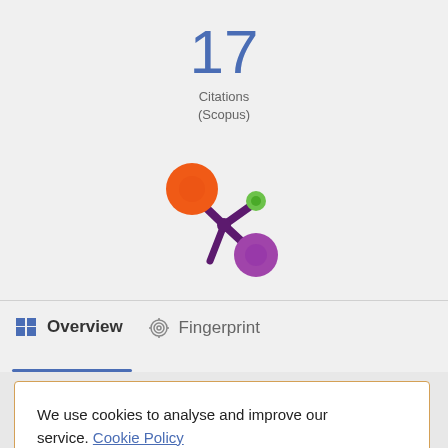17
Citations
(Scopus)
[Figure (logo): Altmetric-style logo with orange, green, and purple circles connected by dark purple branches]
Overview
Fingerprint
We use cookies to analyse and improve our service. Cookie Policy